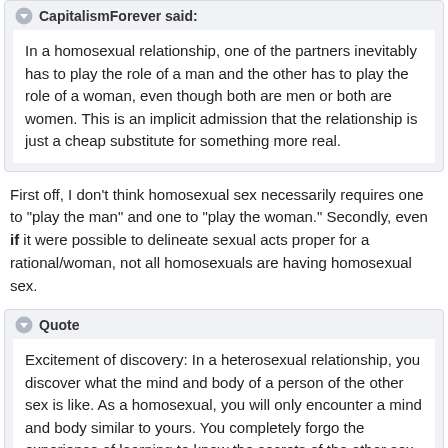CapitalismForever said:
In a homosexual relationship, one of the partners inevitably has to play the role of a man and the other has to play the role of a woman, even though both are men or both are women. This is an implicit admission that the relationship is just a cheap substitute for something more real.
First off, I don't think homosexual sex necessarily requires one to "play the man" and one to "play the woman." Secondly, even if it were possible to delineate sexual acts proper for a rational/woman, not all homosexuals are having homosexual sex.
Quote
Excitement of discovery: In a heterosexual relationship, you discover what the mind and body of a person of the other sex is like. As a homosexual, you will only encounter a mind and body similar to yours. You completely forgo the experience of learning to know the secrets of the other sex.